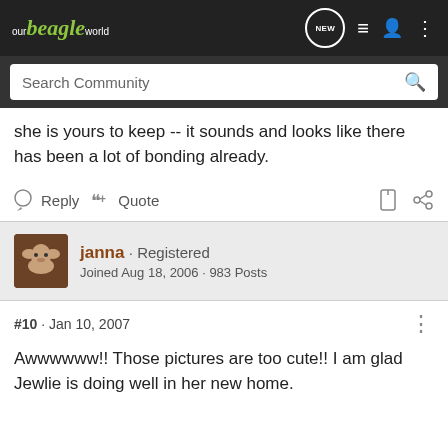our beagle world
she is yours to keep -- it sounds and looks like there has been a lot of bonding already.
Reply  Quote
janna · Registered
Joined Aug 18, 2006 · 983 Posts
#10 · Jan 10, 2007
Awwwwww!! Those pictures are too cute!! I am glad Jewlie is doing well in her new home.